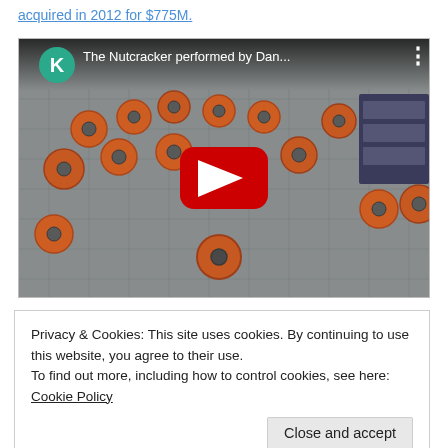acquired in 2012 for $775M.
[Figure (screenshot): YouTube video thumbnail showing 'The Nutcracker performed by Dan...' with a teal K avatar icon, a red YouTube play button overlay, and a scene of orange mechanical wheels/gears arranged on a grey tiled floor.]
Privacy & Cookies: This site uses cookies. By continuing to use this website, you agree to their use.
To find out more, including how to control cookies, see here: Cookie Policy
Close and accept